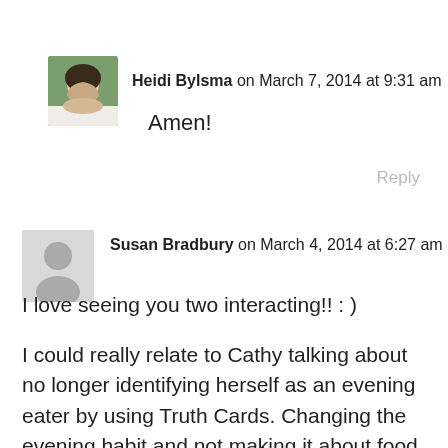[Figure (photo): Small avatar photo of Heidi Bylsma, a woman with long dark hair against a green background]
Heidi Bylsma on March 7, 2014 at 9:31 am
Amen!
Reply
[Figure (illustration): Generic grey user silhouette avatar placeholder]
Susan Bradbury on March 4, 2014 at 6:27 am
I love seeing you two interacting!! : )
I could really relate to Cathy talking about no longer identifying herself as an evening eater by using Truth Cards. Changing the evening habit and not making it about food. I love it when Cathy